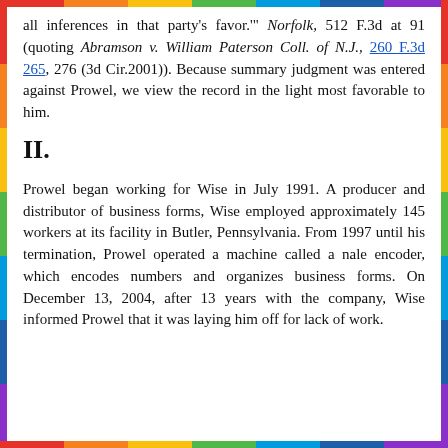all inferences in that party's favor.'" Norfolk, 512 F.3d at 91 (quoting Abramson v. William Paterson Coll. of N.J., 260 F.3d 265, 276 (3d Cir.2001)). Because summary judgment was entered against Prowel, we view the record in the light most favorable to him.
II.
Prowel began working for Wise in July 1991. A producer and distributor of business forms, Wise employed approximately 145 workers at its facility in Butler, Pennsylvania. From 1997 until his termination, Prowel operated a machine called a nale encoder, which encodes numbers and organizes business forms. On December 13, 2004, after 13 years with the company, Wise informed Prowel that it was laying him off for lack of work.